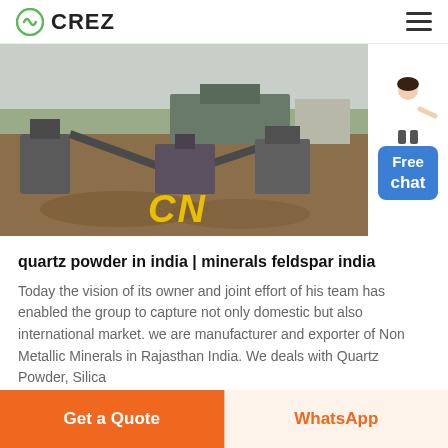CREZ
[Figure (photo): Aerial view of a mining/quarrying facility with industrial machinery, conveyors, and structures on a large open terrain. Yellow 'CN' watermark text visible at bottom center of image.]
quartz powder in india | minerals feldspar india
Today the vision of its owner and joint effort of his team has enabled the group to capture not only domestic but also international market. we are manufacturer and exporter of Non Metallic Minerals in Rajasthan India. We deals with Quartz Powder, Silica
Get a Quote | WhatsApp